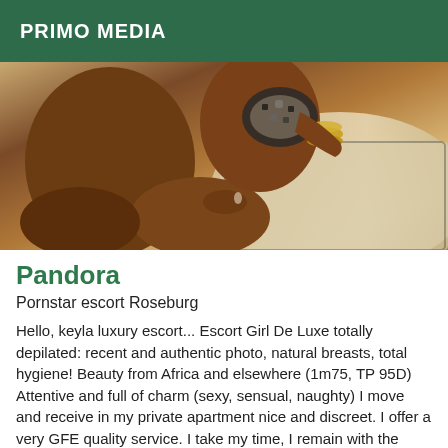PRIMO MEDIA
[Figure (photo): A woman in a patterned bikini top with gold bracelets, seated on a light-colored surface, photo cropped showing legs and torso.]
Pandora
Pornstar escort Roseburg
Hello, keyla luxury escort... Escort Girl De Luxe totally depilated: recent and authentic photo, natural breasts, total hygiene! Beauty from Africa and elsewhere (1m75, TP 95D) Attentive and full of charm (sexy, sensual, naughty) I move and receive in my private apartment nice and discreet. I offer a very GFE quality service. I take my time, I remain with the listening in order to